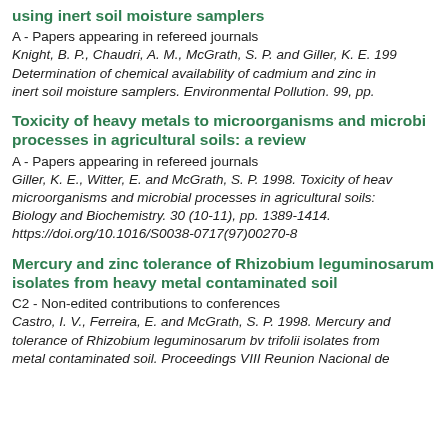using inert soil moisture samplers
A - Papers appearing in refereed journals
Knight, B. P., Chaudri, A. M., McGrath, S. P. and Giller, K. E. 199... Determination of chemical availability of cadmium and zinc in... inert soil moisture samplers. Environmental Pollution. 99, pp.
Toxicity of heavy metals to microorganisms and microbial processes in agricultural soils: a review
A - Papers appearing in refereed journals
Giller, K. E., Witter, E. and McGrath, S. P. 1998. Toxicity of heavy metals to microorganisms and microbial processes in agricultural soils: a review. Soil Biology and Biochemistry. 30 (10-11), pp. 1389-1414. https://doi.org/10.1016/S0038-0717(97)00270-8
Mercury and zinc tolerance of Rhizobium leguminosarum isolates from heavy metal contaminated soil
C2 - Non-edited contributions to conferences
Castro, I. V., Ferreira, E. and McGrath, S. P. 1998. Mercury and zinc tolerance of Rhizobium leguminosarum bv trifolii isolates from heavy metal contaminated soil. Proceedings VIII Reunion Nacional de